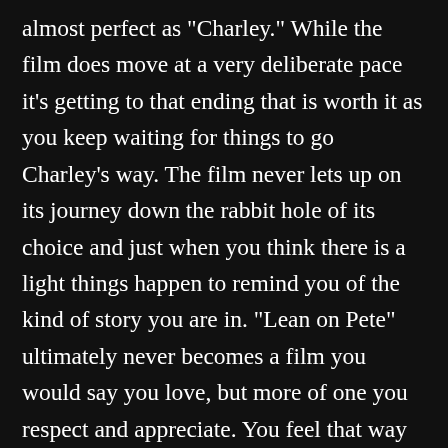almost perfect as 'Charley.' While the film does move at a very deliberate pace it's getting to that ending that is worth it as you keep waiting for things to go Charley's way. The film never lets up on its journey down the rabbit hole of its choice and just when you think there is a light things happen to remind you of the kind of story you are in. “Lean on Pete” ultimately never becomes a film you would say you love, but more of one you respect and appreciate. You feel that way not just because it is a good film, because it is very much so, you do because of how it makes you see the world from a perspective while not common it is certainly familiar and is can show you what’s important about life and our choices.